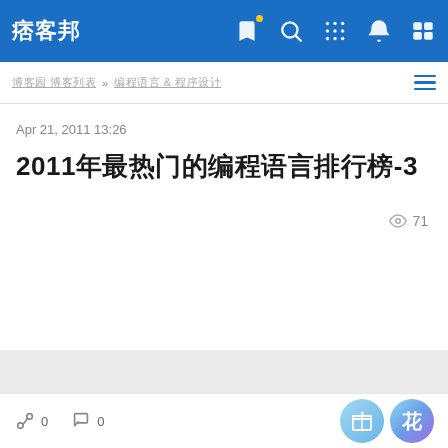痞客邦
博客园 博客列表 » 编程语言 & 程序设计
Apr 21, 2011 13:26
2011年最热门的编程语言排行榜-3
👁 71
0  0